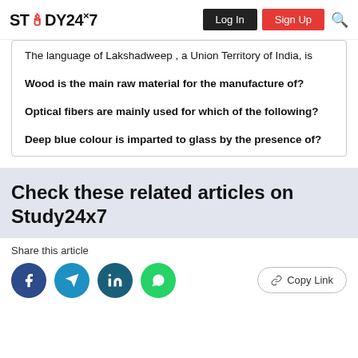STUDY24×7  Log In  Sign Up
The language of Lakshadweep , a Union Territory of India, is
Wood is the main raw material for the manufacture of?
Optical fibers are mainly used for which of the following?
Deep blue colour is imparted to glass by the presence of?
Check these related articles on Study24x7
Share this article